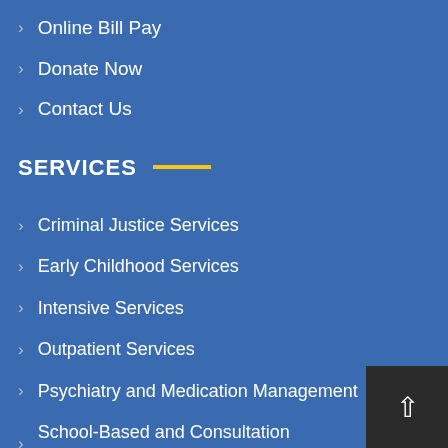> Online Bill Pay
> Donate Now
> Contact Us
SERVICES
> Criminal Justice Services
> Early Childhood Services
> Intensive Services
> Outpatient Services
> Psychiatry and Medication Management
> School-Based and Consultation Training and Education (CTE)
> Specialized Services